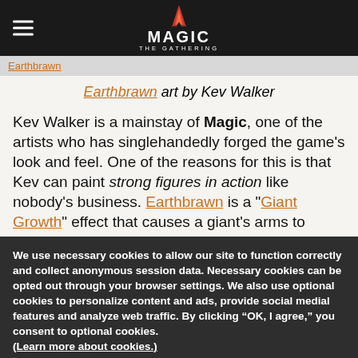Magic: The Gathering header with hamburger menu and logo
Earthbrawn
Earthbrawn art by Kev Walker
Kev Walker is a mainstay of Magic, one of the artists who has singlehandedly forged the game's look and feel. One of the reasons for this is that Kev can paint strong figures in action like nobody's business. Earthbrawn is a "Giant Growth" effect that causes a giant's arms to
We use necessary cookies to allow our site to function correctly and collect anonymous session data. Necessary cookies can be opted out through your browser settings. We also use optional cookies to personalize content and ads, provide social medial features and analyze web traffic. By clicking “OK, I agree,” you consent to optional cookies. (Learn more about cookies.)
OK, I agree   No, thanks